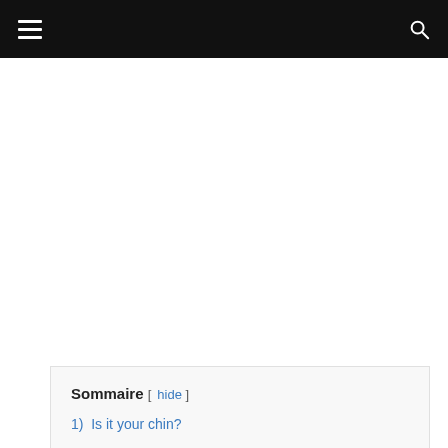☰ [menu icon] [search icon]
Sommaire [ hide ]
1)  Is it your chin?